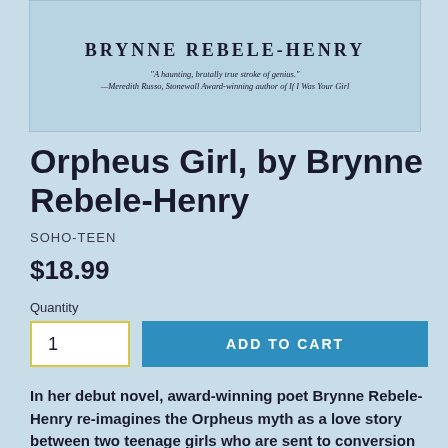[Figure (illustration): Book cover image showing author name BRYNNE REBELE-HENRY in large bold serif letters with a quote below: 'A haunting, brutally true stroke of genius.' —Meredith Russo, Stonewall Award-winning author of If I Was Your Girl]
Orpheus Girl, by Brynne Rebele-Henry
SOHO-TEEN
$18.99
Quantity
1
ADD TO CART
In her debut novel, award-winning poet Brynne Rebele-Henry re-imagines the Orpheus myth as a love story between two teenage girls who are sent to conversion therapy after being caught